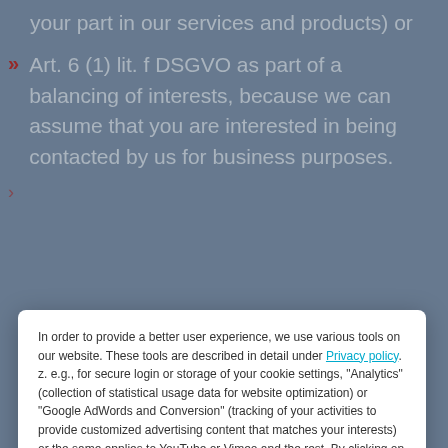your part in our services and products) or
Art. 6 (1) lit. f DSGVO as part of a balancing of interests, because we can assume that you are interested in being contacted by us for business purposes.
In order to provide a better user experience, we use various tools on our website. These tools are described in detail under Privacy policy. z. e.g., for secure login or storage of your cookie settings, "Analytics" (collection of statistical usage data for website optimization) or "Google AdWords and Conversion" (tracking of your activities to provide customized advertising content that matches your interests) or the same applies to YouTube or Vimeo and the rest. By clicking on the "Accept" button, all tools will be activated. Click the "Decline" button if you do not agree and the tools will not be activated. Legal notice
Accept
Decline